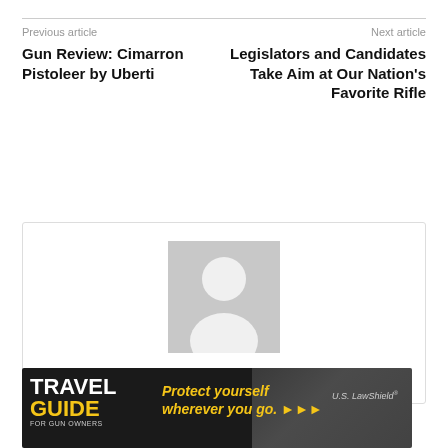Previous article
Gun Review: Cimarron Pistoleer by Uberti
Next article
Legislators and Candidates Take Aim at Our Nation's Favorite Rifle
[Figure (illustration): Default user avatar placeholder image (grey silhouette of a person on light grey background)]
Kat Ainsworth Stevens
[Figure (infographic): Travel Guide For Gun Owners advertisement banner — dark background, yellow text reading 'Protect yourself wherever you go.' with arrow icons and US LawShield logo]